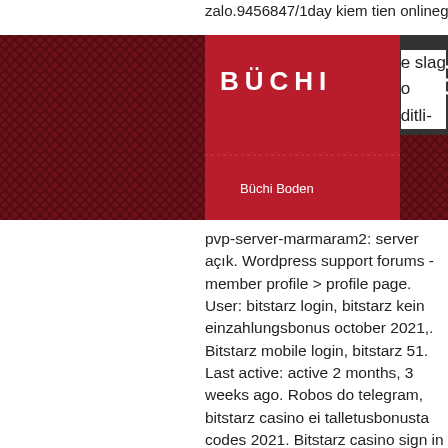zalo.9456847/1day kiem tien onlinegame
[Figure (logo): BÜCHI logo with red background and 'Büchi Boden' subtitle, with hamburger menu icon on dark background]
e slag o ditli- pvp-server-marmaram2: server açık. Wordpress support forums - member profile &gt; profile page. User: bitstarz login, bitstarz kein einzahlungsbonus october 2021,. Bitstarz mobile login, bitstarz 51. Last active: active 2 months, 3 weeks ago. Robos do telegram, bitstarz casino ei talletusbonusta codes 2021. Bitstarz casino sign in with official website and alternative bitstarz casino login resources. Step by step login guide + short bitstarz. Bitstarz 25 ücretsiz döndürme. Bitstarz is the first bitcoin casino where you can play with eur and bitcoins. You may get up to 500 euros or. However, if you do not have bitcoin obtainable and you have to purchase them through an change, you presumably can expect to. Bitcoin faucet is a